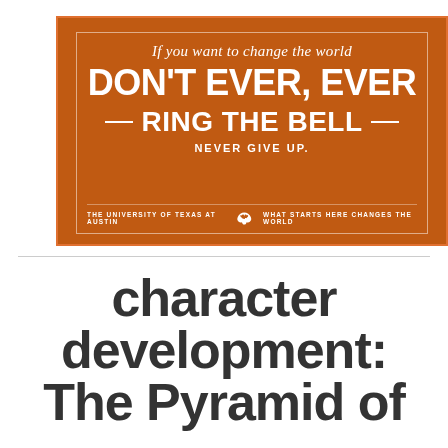[Figure (infographic): Orange motivational poster from The University of Texas at Austin. Italic script reads 'If you want to change the world'. Large bold text reads 'DON'T EVER, EVER' then with dashes 'RING THE BELL'. Below: 'NEVER GIVE UP.' Footer: 'THE UNIVERSITY OF TEXAS AT AUSTIN [longhorn logo] WHAT STARTS HERE CHANGES THE WORLD']
character development: The Pyramid of